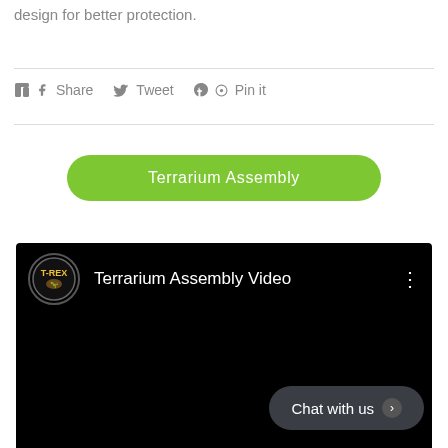design for better protection.
Share  Tweet  Pin it
Terrarium Assembly
[Figure (screenshot): Embedded video player with black background, T-Rex logo, title 'Terrarium Assembly Video', three-dot menu icon, and a 'Chat with us' button in the lower right corner.]